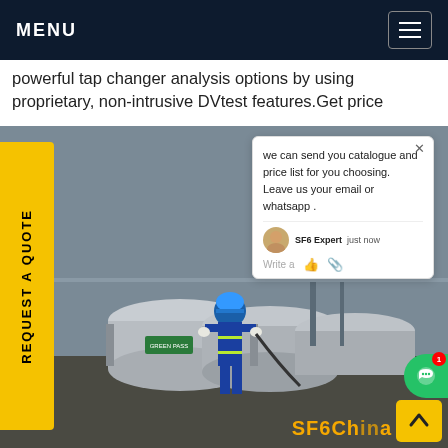MENU
powerful tap changer analysis options by using proprietary, non-intrusive DVtest features.Get price
[Figure (photo): Worker in blue safety coveralls and hard hat using gas servicing equipment on large cylindrical SF6 gas containers at an electrical substation. A chat popup overlay is visible on the right side with text: 'we can send you catalogue and price list for you choosing. Leave us your email or whatsapp .' Signed by SF6 Expert. A yellow 'REQUEST A QUOTE' vertical sidebar tab is on the left. SF6China branding appears in the bottom right.]